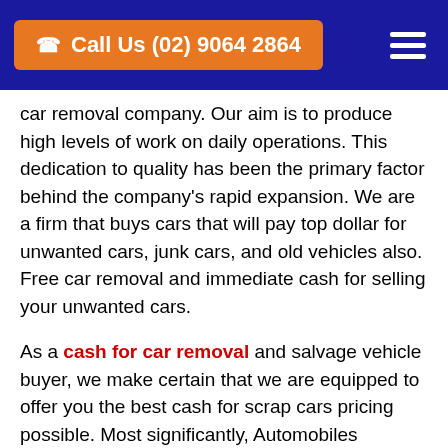Call Us (02) 9064 2864
car removal company. Our aim is to produce high levels of work on daily operations. This dedication to quality has been the primary factor behind the company's rapid expansion. We are a firm that buys cars that will pay top dollar for unwanted cars, junk cars, and old vehicles also. Free car removal and immediate cash for selling your unwanted cars.
As a cash for car removal and salvage vehicle buyer, we make certain that we are equipped to offer you the best cash for scrap cars pricing possible. Most significantly, Automobiles Removal Sydney is a specialist in removing all types of unwanted cars including cars, 4wds, vans, trucks, and utes. We pay top cash for cars removal up to $9999 regardless of their condition.